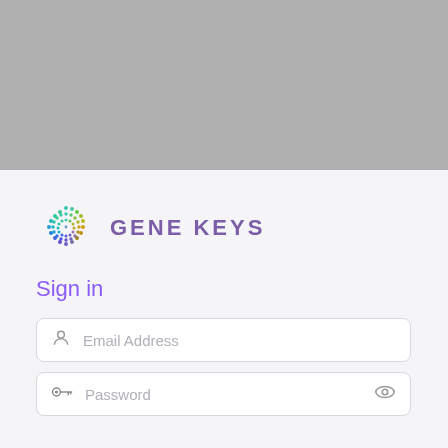[Figure (photo): Gray banner image at the top of the page]
[Figure (logo): Gene Keys logo: colorful dotted circle in teal/green/yellow/blue gradient next to text GENE KEYS in purple]
Sign in
Email Address (input field placeholder)
Password (input field placeholder)